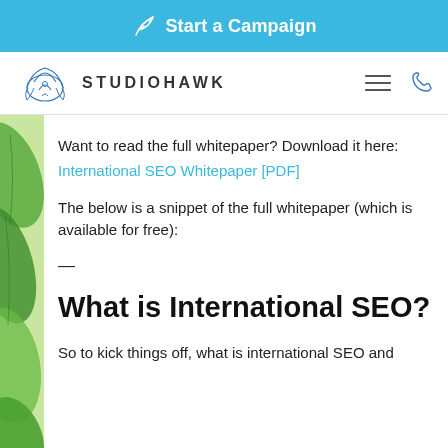Start a Campaign
[Figure (logo): StudioHawk logo with hawk icon and navigation icons]
Want to read the full whitepaper? Download it here:
International SEO Whitepaper [PDF]
The below is a snippet of the full whitepaper (which is available for free):
What is International SEO?
So to kick things off, what is international SEO and